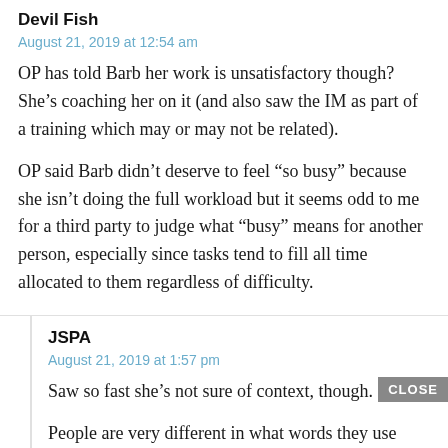Devil Fish
August 21, 2019 at 12:54 am
OP has told Barb her work is unsatisfactory though? She’s coaching her on it (and also saw the IM as part of a training which may or may not be related).
OP said Barb didn’t deserve to feel “so busy” because she isn’t doing the full workload but it seems odd to me for a third party to judge what “busy” means for another person, especially since tasks tend to fill all time allocated to them regardless of difficulty.
JSPA
August 21, 2019 at 1:57 pm
Saw so fast she’s not sure of context, though.
People are very different in what words they use